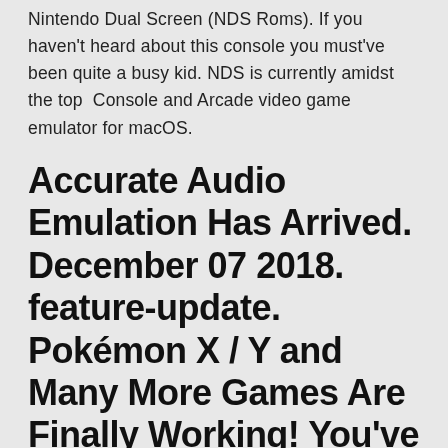Nintendo Dual Screen (NDS Roms). If you haven't heard about this console you must've been quite a busy kid. NDS is currently amidst the top Console and Arcade video game emulator for macOS.
Accurate Audio Emulation Has Arrived. December 07 2018. feature-update. Pokémon X / Y and Many More Games Are Finally Working! You've been asking for
Download and Install Nintendo 3DS Emulator/ Emu for iOS No Jailbreak. 3DS Emulator for PC Windows 7, 8, 10 for 32 64 Bit Download Free. 3DS Emulator for Android. 7 Best Working Nintendo 3Ds Emulator for PC & Android Nintendo and...